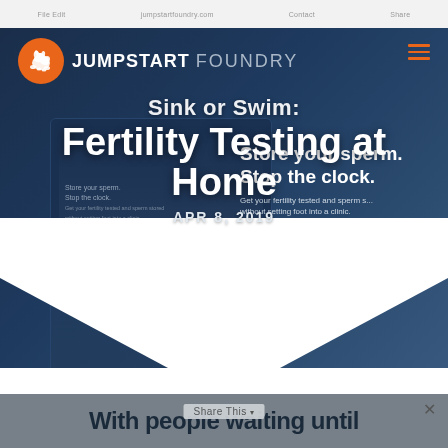Jumpstart Foundry — navigation bar (browser chrome)
[Figure (screenshot): Jumpstart Foundry website screenshot showing logo with orange rabbit icon, navigation hamburger menu in orange, a tablet device screenshot showing a fertility/sperm banking website with 'Store your sperm. Stop the clock.' text, and a large white chevron fold graphic at the bottom.]
Sink or Swim: Fertility Testing at Home
APR 8, 2019
With people waiting until